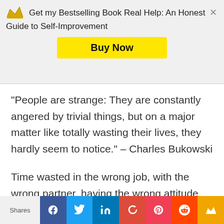Get my Bestselling Book Real Help: An Honest Guide to Self-Improvement
“People are strange: They are constantly angered by trivial things, but on a major matter like totally wasting their lives, they hardly seem to notice.” – Charles Bukowski
Time wasted in the wrong job, with the wrong partner, having the wrong attitude. Tick, tock, tick, tock, tick, tock. I do the same thing you do — ruminate, stew, play those mental
Shares | Facebook | Twitter | LinkedIn | Google+ | Pocket | Reddit | Crown